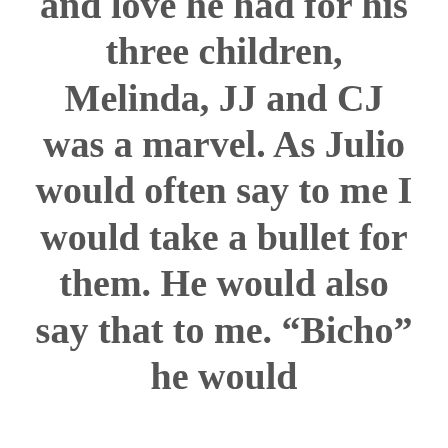and love he had for his three children, Melinda, JJ and CJ was a marvel. As Julio would often say to me I would take a bullet for them. He would also say that to me. “Bicho” he would